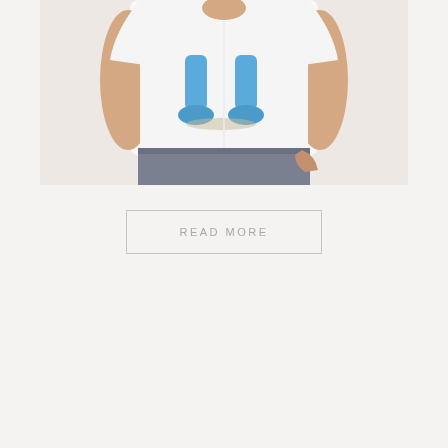[Figure (photo): A man wearing a white t-shirt with a blue cartoon character (legs only visible) printed on the front, paired with grey jeans. The image is cropped to show the torso area.]
READ MORE